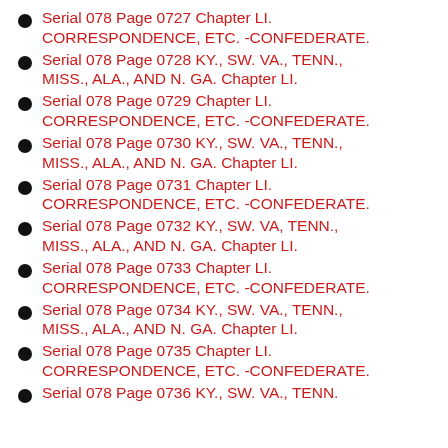Serial 078 Page 0727 Chapter LI. CORRESPONDENCE, ETC. -CONFEDERATE.
Serial 078 Page 0728 KY., SW. VA., TENN., MISS., ALA., AND N. GA. Chapter LI.
Serial 078 Page 0729 Chapter LI. CORRESPONDENCE, ETC. -CONFEDERATE.
Serial 078 Page 0730 KY., SW. VA., TENN., MISS., ALA., AND N. GA. Chapter LI.
Serial 078 Page 0731 Chapter LI. CORRESPONDENCE, ETC. -CONFEDERATE.
Serial 078 Page 0732 KY., SW. VA, TENN., MISS., ALA., AND N. GA. Chapter LI.
Serial 078 Page 0733 Chapter LI. CORRESPONDENCE, ETC. -CONFEDERATE.
Serial 078 Page 0734 KY., SW. VA., TENN., MISS., ALA., AND N. GA. Chapter LI.
Serial 078 Page 0735 Chapter LI. CORRESPONDENCE, ETC. -CONFEDERATE.
Serial 078 Page 0736 KY., SW. VA., TENN.